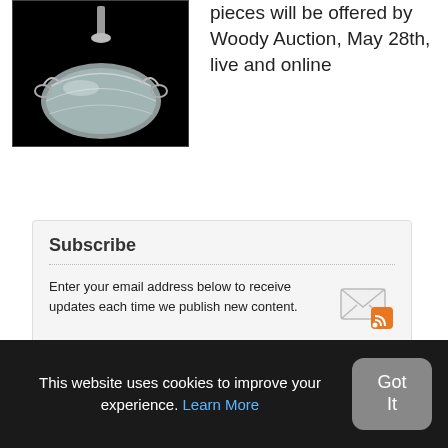[Figure (photo): Crystal glass basket or bowl with decorative cut pattern, photographed against a black background]
pieces will be offered by Woody Auction, May 28th, live and online
Subscribe
Enter your email address below to receive updates each time we publish new content.
[Figure (illustration): Email/RSS subscription icon showing an envelope with an RSS feed badge]
This website uses cookies to improve your experience. Learn More
Got It